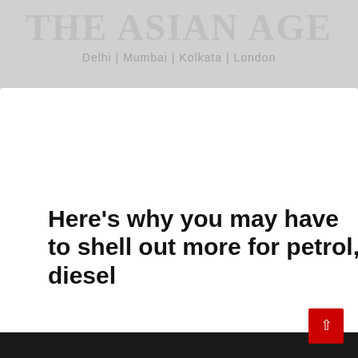THE ASIAN AGE
Delhi | Mumbai | Kolkata | London
Here's why you may have to shell out more for petrol, diesel
Public sector fuel retailers have hiked commissions paid to fuel pump dealers.
04 Aug 2017 11:22 AM